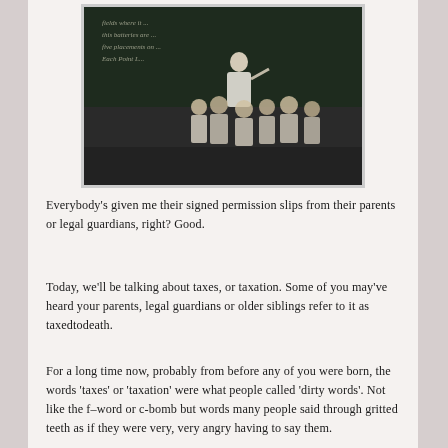[Figure (photo): Black and white historical photograph of a teacher standing at a chalkboard pointing, surrounded by a group of young children in a classroom setting.]
Everybody's given me their signed permission slips from their parents or legal guardians, right? Good.
Today, we'll be talking about taxes, or taxation. Some of you may've heard your parents, legal guardians or older siblings refer to it as taxedtodeath.
For a long time now, probably from before any of you were born, the words 'taxes' or 'taxation' were what people called 'dirty words'. Not like the f–word or c-bomb but words many people said through gritted teeth as if they were very, very angry having to say them.